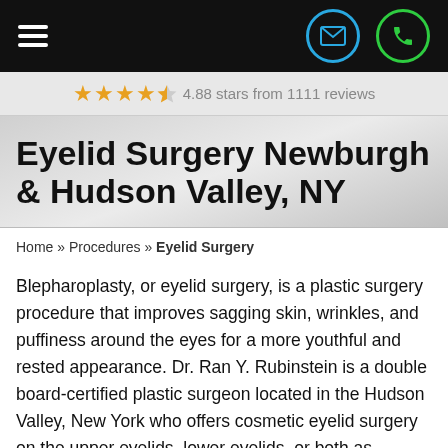Navigation bar with hamburger menu, email icon, phone icon
4.88 stars from 1111 reviews
Eyelid Surgery Newburgh & Hudson Valley, NY
Home » Procedures » Eyelid Surgery
Blepharoplasty, or eyelid surgery, is a plastic surgery procedure that improves sagging skin, wrinkles, and puffiness around the eyes for a more youthful and rested appearance. Dr. Ran Y. Rubinstein is a double board-certified plastic surgeon located in the Hudson Valley, New York who offers cosmetic eyelid surgery on the upper eyelids, lower eyelids, or both as needed to